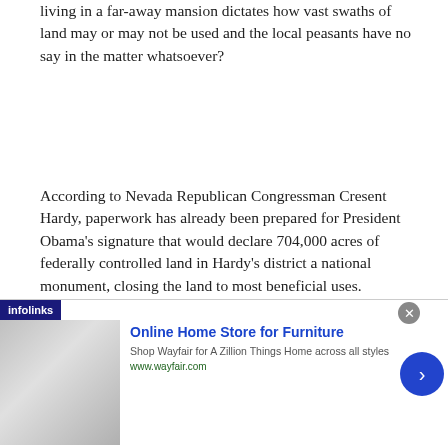living in a far-away mansion dictates how vast swaths of land may or may not be used and the local peasants have no say in the matter whatsoever?
According to Nevada Republican Congressman Cresent Hardy, paperwork has already been prepared for President Obama's signature that would declare 704,000 acres of federally controlled land in Hardy's district a national monument, closing the land to most beneficial uses.
The so-called Basin and Range National Monument would cover the Garden and Coal
[Figure (screenshot): Advertisement banner: infolinks badge on top-left, Wayfair ad for Online Home Store for Furniture with product image on left, ad headline, description text, URL, close button (X), and blue arrow button on right.]